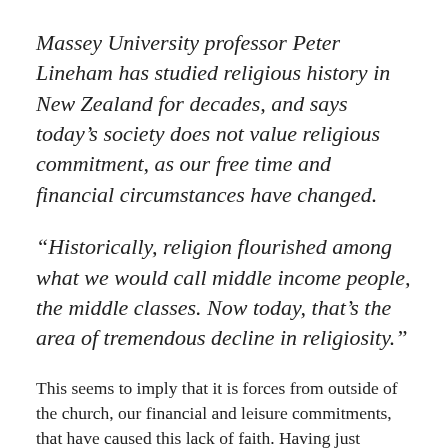Massey University professor Peter Lineham has studied religious history in New Zealand for decades, and says today's society does not value religious commitment, as our free time and financial circumstances have changed.
“Historically, religion flourished among what we would call middle income people, the middle classes. Now today, that’s the area of tremendous decline in religiosity.”
This seems to imply that it is forces from outside of the church, our financial and leisure commitments, that have caused this lack of faith. Having just completed five